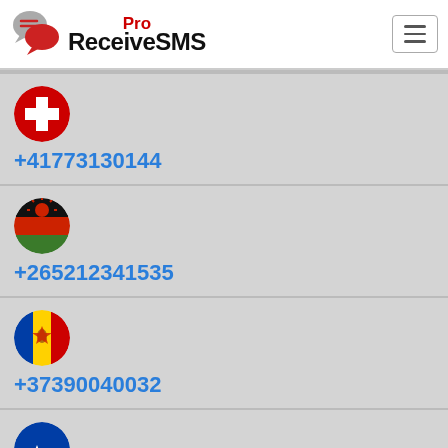Pro ReceiveSMS
+41773130144
+265212341535
+37390040032
(Nauru number, partial)